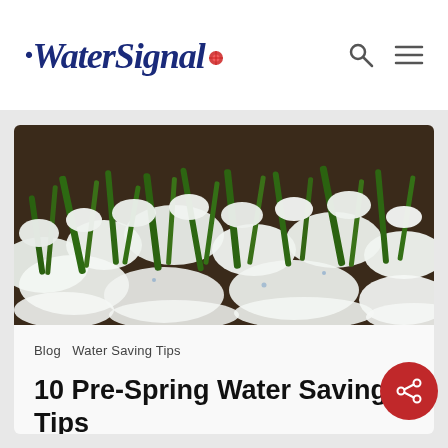WaterSignal
[Figure (photo): Close-up photo of green grass blades covered with white snow or hail, showing early spring or late winter conditions]
Blog  Water Saving Tips
10 Pre-Spring Water Saving Tips